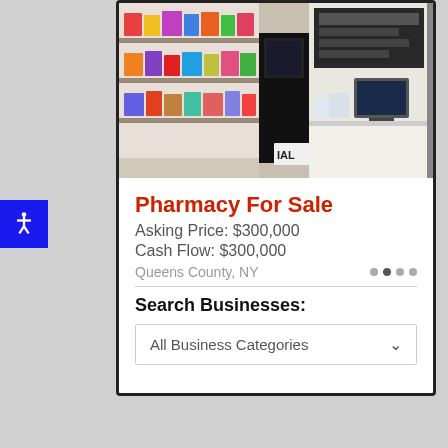[Figure (photo): Interior of a pharmacy showing shelves stocked with products and a checkout counter with a computer monitor]
Pharmacy For Sale
Asking Price: $300,000
Cash Flow: $300,000
Queens County, NY
Search Businesses:
All Business Categories